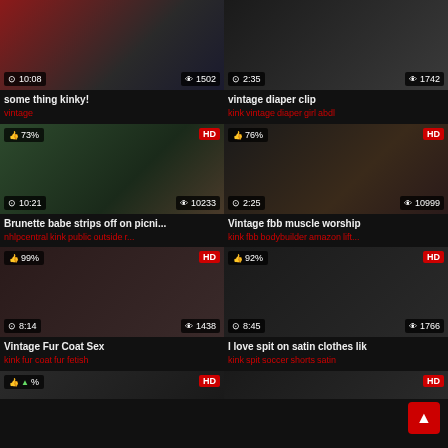[Figure (screenshot): Video thumbnail grid showing 6 video cards in 2 columns with thumbnails, titles, tags, view counts and duration badges]
some thing kinky!
vintage
vintage diaper clip
kink vintage diaper girl abdl
Brunette babe strips off on picni...
nhlpcentral kink public outside r...
Vintage fbb muscle worship
kink fbb bodybuilder amazon lift...
Vintage Fur Coat Sex
kink fur coat fur fetish
I love spit on satin clothes lik
kink spit soccer shorts satin